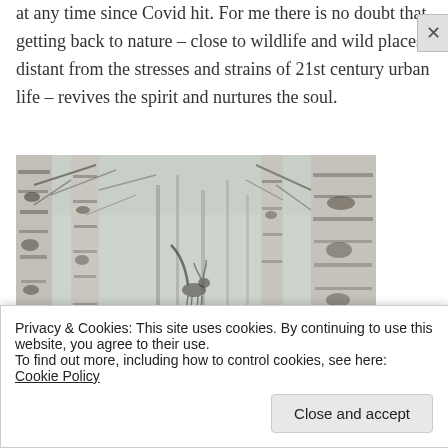at any time since Covid hit. For me there is no doubt that getting back to nature – close to wildlife and wild places, distant from the stresses and strains of 21st century urban life – revives the spirit and nurtures the soul.
[Figure (photo): A row of birch trees with bare branches in a misty winter forest. A deer or bird silhouette is visible in the background between the trunks.]
Privacy & Cookies: This site uses cookies. By continuing to use this website, you agree to their use.
To find out more, including how to control cookies, see here: Cookie Policy
Close and accept